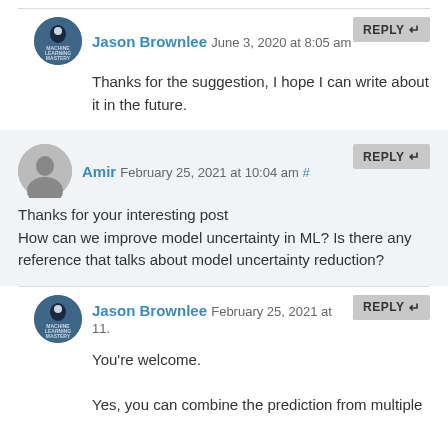Jason Brownlee June 3, 2020 at 8:05 am — Thanks for the suggestion, I hope I can write about it in the future.
Amir February 25, 2021 at 10:04 am # — Thanks for your interesting post
How can we improve model uncertainty in ML? Is there any reference that talks about model uncertainty reduction?
Jason Brownlee February 25, 2021 at 11:... — You're welcome.
Yes, you can combine the prediction from multiple